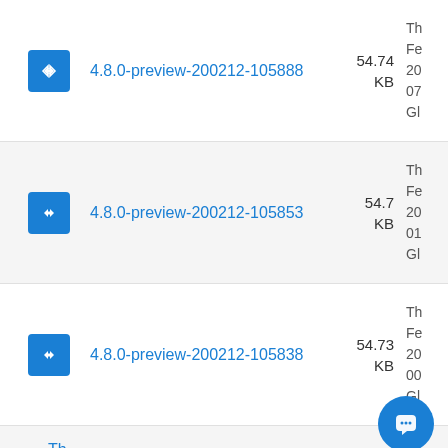4.8.0-preview-200212-105888 54.74 KB Th Fe 20 07 Gl
4.8.0-preview-200212-105853 54.7 KB Th Fe 20 01 Gl
4.8.0-preview-200212-105838 54.73 KB Th Fe 20 00 Gl
Th